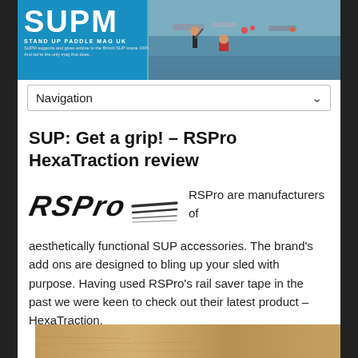[Figure (photo): SUPM (Stand Up Paddle Mag UK) website header with blue logo on left and paddleboarding photo on right showing people on water with boats]
Navigation
SUP: Get a grip! – RSPro HexaTraction review
[Figure (logo): RSPro brand logo in italic black font with speed lines]
RSPro are manufacturers of aesthetically functional SUP accessories. The brand's add ons are designed to bling up your sled with purpose. Having used RSPro's rail saver tape in the past we were keen to check out their latest product – HexaTraction.
[Figure (photo): Bottom strip showing sandy/beach surface, partially visible]